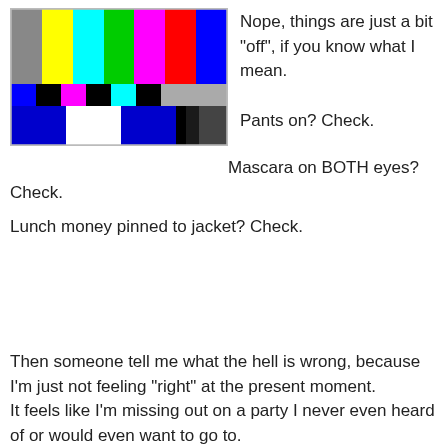[Figure (other): TV color bars test pattern image with color bars on top half and color blocks on bottom half]
Nope, things are just a bit "off", if you know what I mean.
Pants on? Check.
Mascara on BOTH eyes? Check.
Lunch money pinned to jacket? Check.
Then someone tell me what the hell is wrong, because I'm just not feeling "right" at the present moment.
It feels like I'm missing out on a party I never even heard of or would even want to go to.
Or, like I know I have an appointment somewhere for something- but I have no records of it and no one has sent me a postcard with a red pony on it that says "don't forget!"